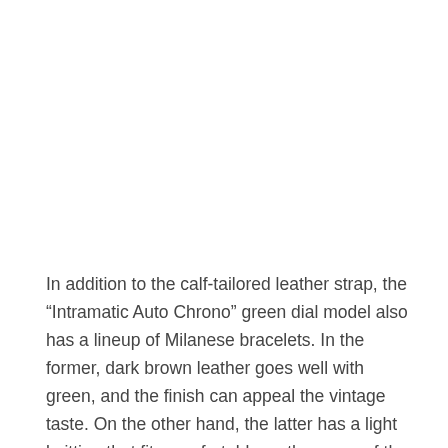In addition to the calf-tailored leather strap, the “Intramatic Auto Chrono” green dial model also has a lineup of Milanese bracelets. In the former, dark brown leather goes well with green, and the finish can appeal the vintage taste. On the other hand, the latter has a light knitting that fits comfortably on the curve of the wrist, and has a strong presence as a design that adds a sense of dress. The impressions they give off from their wrists are different